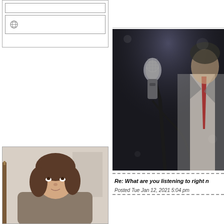[Figure (screenshot): UI input box and globe icon box at top left]
[Figure (photo): Concert photo showing a microphone on stand with a person in suit and red tie in the background]
[Figure (photo): Photo of a young woman looking upward, with long brown hair, indoors]
Re: What are you listening to right n
Posted Tue Jan 12, 2021 5:04 pm